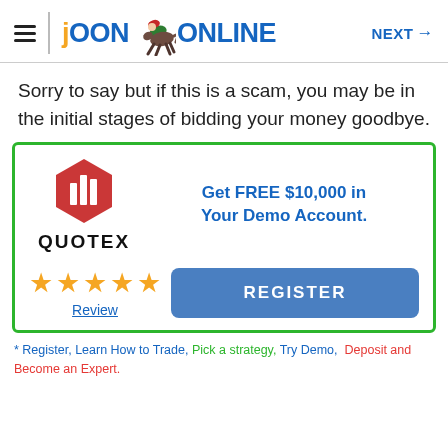JOON ONLINE  NEXT →
Sorry to say but if this is a scam, you may be in the initial stages of bidding your money goodbye.
[Figure (infographic): Quotex advertisement box with green border. Contains Quotex logo (red hexagon with bars icon and QUOTEX text), promo text 'Get FREE $10,000 in Your Demo Account.', five gold stars, a Review link, and a REGISTER button.]
* Register, Learn How to Trade, Pick a strategy, Try Demo, Deposit and Become an Expert.